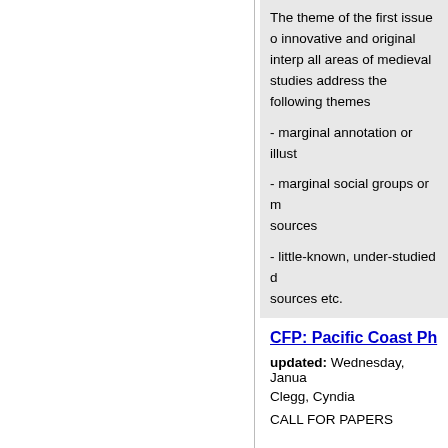The theme of the first issue of innovative and original interpretations in all areas of medieval studies to address the following themes
- marginal annotation or illust
- marginal social groups or ma sources
- little-known, under-studied d sources etc.
CFP: Pacific Coast Ph
updated: Wednesday, January
Clegg, Cyndia
CALL FOR PAPERS